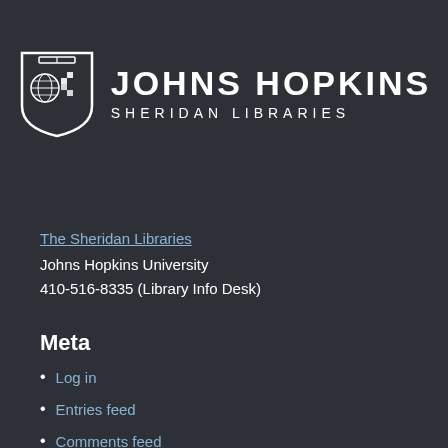[Figure (logo): Johns Hopkins Sheridan Libraries logo with shield icon on dark background]
The Sheridan Libraries
Johns Hopkins University
410-516-8335 (Library Info Desk)
Meta
Log in
Entries feed
Comments feed